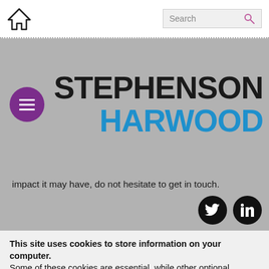[Figure (screenshot): Navigation bar with home icon on left and search box on right]
[Figure (logo): Stephenson Harwood law firm logo with purple hamburger menu button on left. STEPHENSON in black and HARWOOD in blue, bold large text.]
impact it may have, do not hesitate to get in touch.
[Figure (illustration): Twitter and LinkedIn social media icons (black circles with white logos)]
This site uses cookies to store information on your computer. Some of these cookies are essential, while other optional cookies help us to analyse use of the site and improve your experience. We won't set optional cookies unless you enable them. You can change your mind at any time by using our cookie tool, which will set a cookie on your device to remember your preferences.